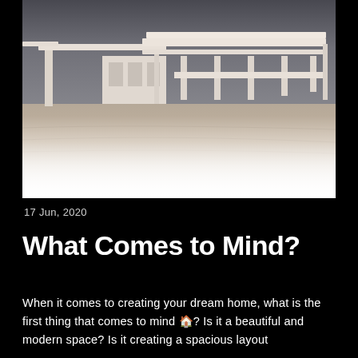[Figure (photo): Architectural scale model of a modern flat-roofed building with horizontal layered elements and open shelving/columns, placed on a sandy terrain base. Upper portion shows the model clearly, lower portion fades to white.]
17 Jun, 2020
What Comes to Mind?
When it comes to creating your dream home, what is the first thing that comes to mind 🏠? Is it a beautiful and modern space? Is it creating a spacious layout